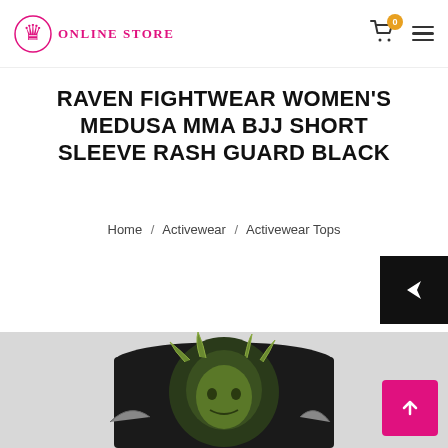ONLINE STORE
RAVEN FIGHTWEAR WOMEN'S MEDUSA MMA BJJ SHORT SLEEVE RASH GUARD BLACK
Home / Activewear / Activewear Tops
[Figure (photo): Product photo showing the back of a black rash guard with a Medusa design in green tones]